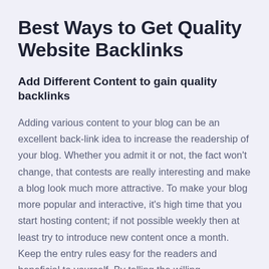Best Ways to Get Quality Website Backlinks
Add Different Content to gain quality backlinks
Adding various content to your blog can be an excellent back-link idea to increase the readership of your blog. Whether you admit it or not, the fact won't change, that contests are really interesting and make a blog look much more attractive. To make your blog more popular and interactive, it's high time that you start hosting content; if not possible weekly then at least try to introduce new content once a month. Keep the entry rules easy for the readers and beneficial to yourself. By telling the willing contestants to share